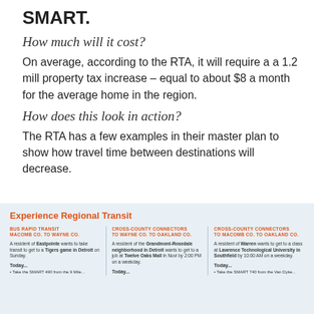SMART.
How much will it cost?
On average, according to the RTA, it will require a a 1.2 mill property tax increase – equal to about $8 a month for the average home in the region.
How does this look in action?
The RTA has a few examples in their master plan to show how travel time between destinations will decrease.
[Figure (infographic): Experience Regional Transit infographic showing three transit scenarios: Bus Rapid Transit (Macomb Co. to Wayne Co.), Cross-County Connectors (to Wayne Co. to Oakland Co.), and Cross-County Connectors (to Macomb Co. to Oakland Co.), each with a brief story and Today... section with bullet points.]